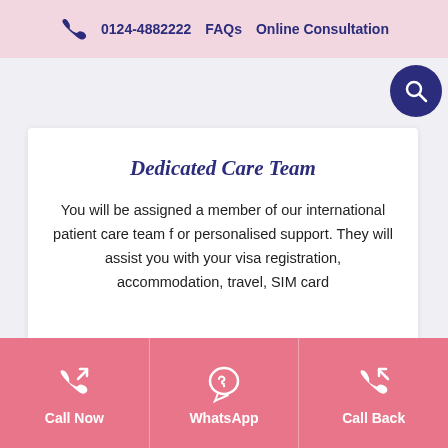0124-4882222   FAQs   Online Consultation
Dedicated Care Team
You will be assigned a member of our international patient care team f or personalised support. They will assist you with your visa registration, accommodation, travel, SIM card
[Figure (infographic): Bottom action bar with three pink buttons: Call Now (phone out icon), WhatsApp (WhatsApp icon), Call Back (phone in icon)]